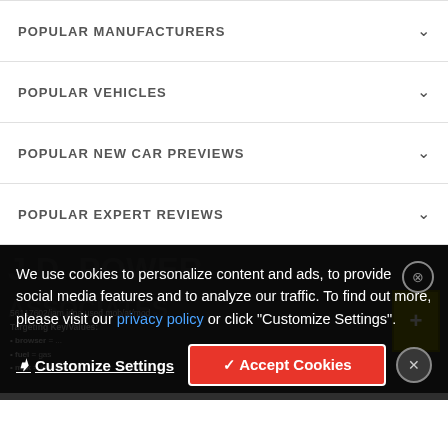POPULAR MANUFACTURERS
POPULAR VEHICLES
POPULAR NEW CAR PREVIEWS
POPULAR EXPERT REVIEWS
We use cookies to personalize content and ads, to provide social media features and to analyze our traffic. To find out more, please visit our privacy policy or click "Customize Settings".
Customize Settings
✓ Accept Cookies